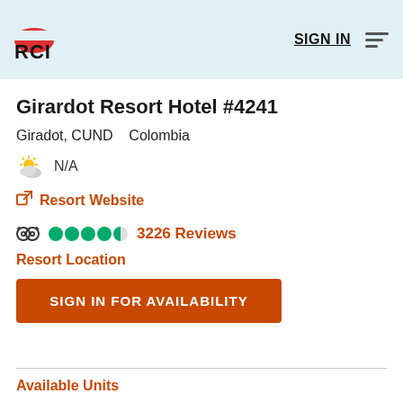RCI | SIGN IN
Girardot Resort Hotel #4241
Giradot, CUND    Colombia
N/A
Resort Website
3226 Reviews
Resort Location
SIGN IN FOR AVAILABILITY
Available Units